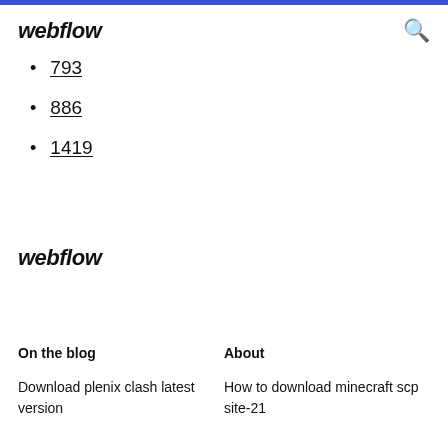webflow
793
886
1419
webflow
On the blog
About
Download plenix clash latest version
How to download minecraft scp site-21